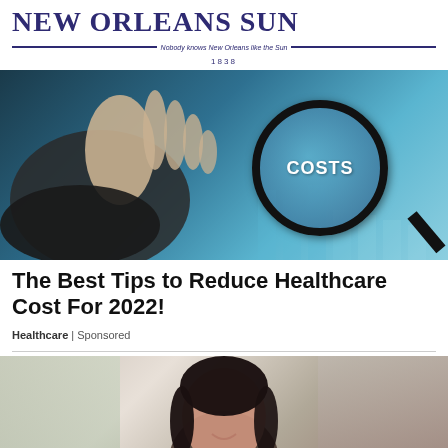NEW ORLEANS SUN — Nobody knows New Orleans like the Sun — 1838
[Figure (photo): Hand holding a magnifying glass over the word COSTS with bar chart shapes in background, teal/blue tones]
The Best Tips to Reduce Healthcare Cost For 2022!
Healthcare | Sponsored
[Figure (photo): Smiling young woman with dark hair, background with plants and brick wall, cropped at bottom of page]